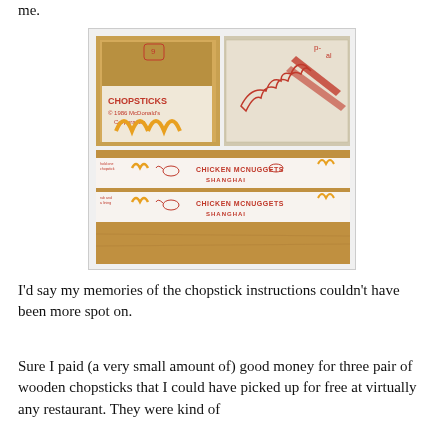me.
[Figure (photo): Photo collage showing McDonald's 1986 chopsticks packaging. Top left shows a chopstick wrapper printed with 'CHOPSTICKS © 1986 McDonald's Corporation' and the golden arches logo. Top right shows a close-up of chopstick instruction illustrations in red ink. Bottom shows two chopstick wrappers laid out reading 'CHICKEN McNUGGETS SHANGHAI' with red printed illustrations and McDonald's logos.]
I'd say my memories of the chopstick instructions couldn't have been more spot on.
Sure I paid (a very small amount of) good money for three pair of wooden chopsticks that I could have picked up for free at virtually any restaurant. They were kind of